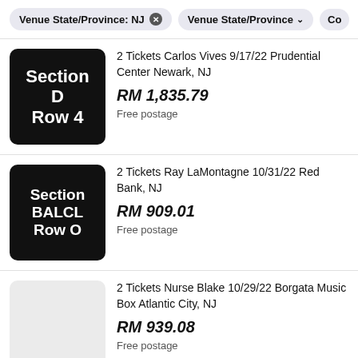Venue State/Province: NJ  Venue State/Province  Co
2 Tickets Carlos Vives 9/17/22 Prudential Center Newark, NJ
RM 1,835.79
Free postage
2 Tickets Ray LaMontagne 10/31/22 Red Bank, NJ
RM 909.01
Free postage
2 Tickets Nurse Blake 10/29/22 Borgata Music Box Atlantic City, NJ
RM 939.08
Free postage